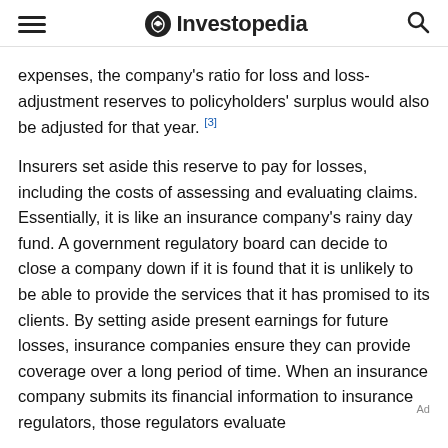Investopedia
expenses, the company's ratio for loss and loss-adjustment reserves to policyholders' surplus would also be adjusted for that year. [3]
Insurers set aside this reserve to pay for losses, including the costs of assessing and evaluating claims. Essentially, it is like an insurance company's rainy day fund. A government regulatory board can decide to close a company down if it is found that it is unlikely to be able to provide the services that it has promised to its clients. By setting aside present earnings for future losses, insurance companies ensure they can provide coverage over a long period of time. When an insurance company submits its financial information to insurance regulators, those regulators evaluate